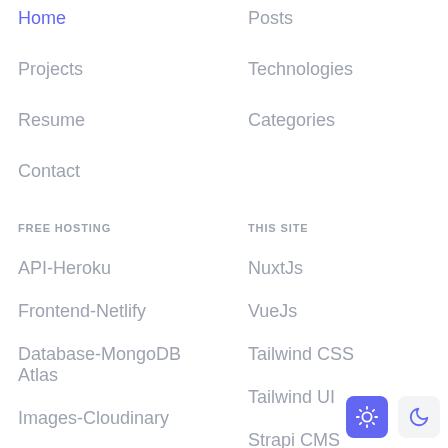Home
Posts
Projects
Technologies
Resume
Categories
Contact
FREE HOSTING
THIS SITE
API-Heroku
NuxtJs
Frontend-Netlify
VueJs
Database-MongoDB Atlas
Tailwind CSS
Tailwind UI
Images-Cloudinary
Strapi CMS